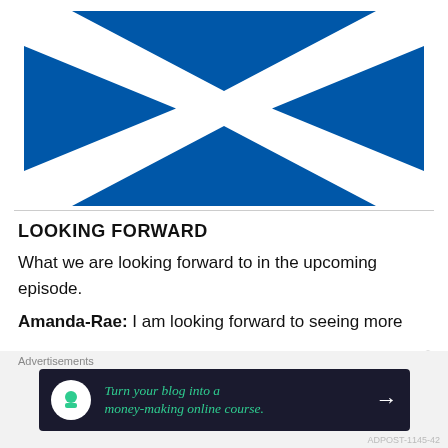[Figure (illustration): Scottish flag (Saltire) — white diagonal cross on blue background]
LOOKING FORWARD
What we are looking forward to in the upcoming episode.
Amanda-Rae: I am looking forward to seeing more
[Figure (infographic): Advertisement banner: 'Turn your blog into a money-making online course.' with arrow, on dark background. Labeled 'Advertisements' above.]